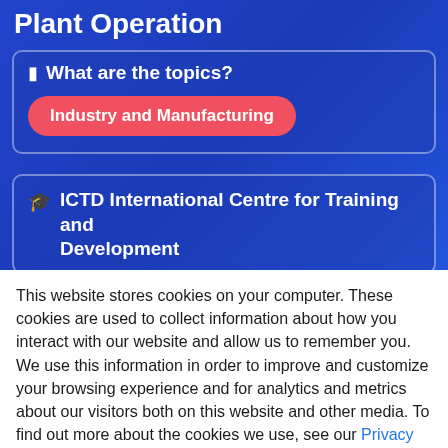Plant Operation
What are the topics?
Industry and Manufacturing
ICTD International Centre for Training and Development
This website stores cookies on your computer. These cookies are used to collect information about how you interact with our website and allow us to remember you. We use this information in order to improve and customize your browsing experience and for analytics and metrics about our visitors both on this website and other media. To find out more about the cookies we use, see our Privacy Policy.
Accept